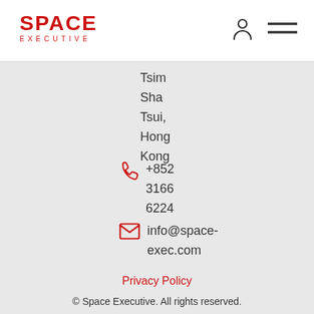SPACE EXECUTIVE
Tsim Sha Tsui, Hong Kong
+852 3166 6224
info@space-exec.com
Privacy Policy
© Space Executive. All rights reserved.